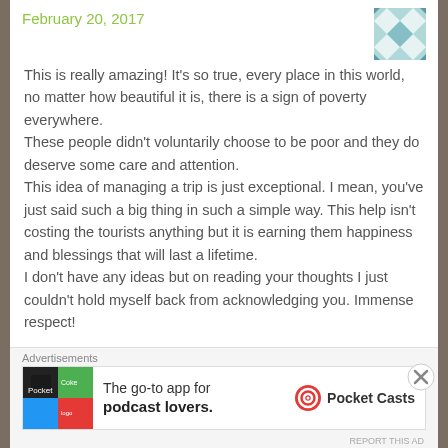February 20, 2017
This is really amazing! It's so true, every place in this world, no matter how beautiful it is, there is a sign of poverty everywhere. These people didn't voluntarily choose to be poor and they do deserve some care and attention. This idea of managing a trip is just exceptional. I mean, you've just said such a big thing in such a simple way. This help isn't costing the tourists anything but it is earning them happiness and blessings that will last a lifetime. I don't have any ideas but on reading your thoughts I just couldn't hold myself back from acknowledging you. Immense respect!
[Figure (other): Pocket Casts advertisement banner: The go-to app for podcast lovers.]